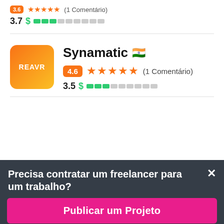3.7 $ [price bar]
[Figure (screenshot): Synamatic freelancer listing with Indian flag, rating 4.6 (5 stars, 1 Comentário), price level 3.5]
Precisa contratar um freelancer para um trabalho?
Publicar um Projeto